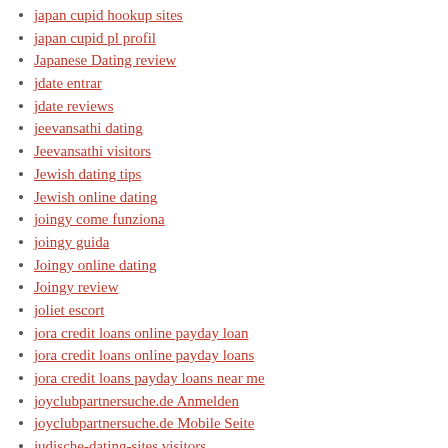japan cupid hookup sites
japan cupid pl profil
Japanese Dating review
jdate entrar
jdate reviews
jeevansathi dating
Jeevansathi visitors
Jewish dating tips
Jewish online dating
joingy come funziona
joingy guida
Joingy online dating
Joingy review
joliet escort
jora credit loans online payday loan
jora credit loans online payday loans
jora credit loans payday loans near me
joyclubpartnersuche.de Anmelden
joyclubpartnersuche.de Mobile Seite
judische-dating-sites visitors
jurupa valley escort
Kansas Online Payday Loan
Kansas Payday Loans Online Same Day
Kansas title loans near me
Kansas what is an installment loan